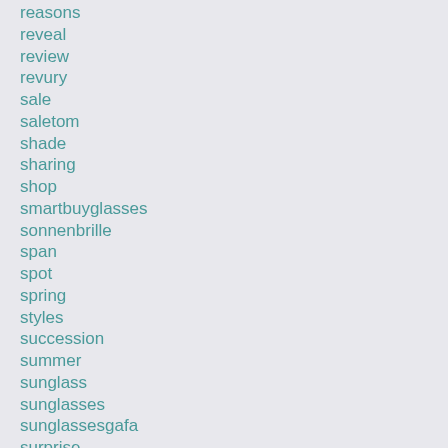reasons
reveal
review
revury
sale
saletom
shade
sharing
shop
smartbuyglasses
sonnenbrille
span
spot
spring
styles
succession
summer
sunglass
sunglasses
sunglassesgafa
surprise
surprisingly
tell